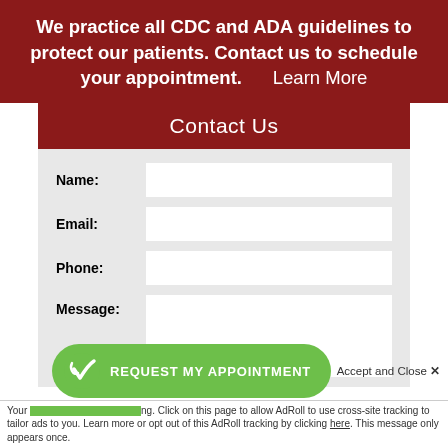We practice all CDC and ADA guidelines to protect our patients. Contact us to schedule your appointment.    Learn More
Contact Us
Name:
Email:
Phone:
Message:
REQUEST MY APPOINTMENT
Accept and Close ✕
Your [...] ng. Click on this page to allow AdRoll to use cross-site tracking to tailor ads to you. Learn more or opt out of this AdRoll tracking by clicking here. This message only appears once.